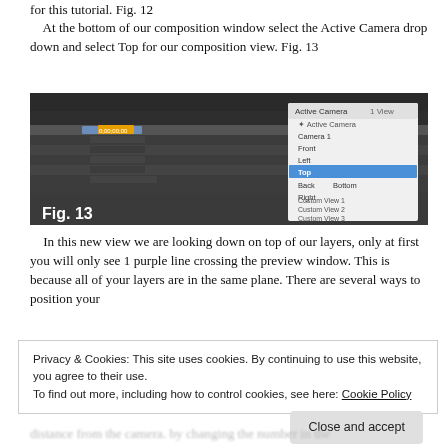for this tutorial. Fig. 12
At the bottom of our composition window select the Active Camera drop down and select Top for our composition view. Fig. 13
[Figure (screenshot): Screenshot of Adobe After Effects composition window showing a dropdown menu with camera view options including Active Camera, Camera 1, Front, Left, Top (highlighted in blue), Back, Right, Bottom, Custom View 1, Custom View 2, Custom View 3. Labeled Fig. 13.]
In this new view we are looking down on top of our layers, only at first you will only see 1 purple line crossing the preview window. This is because all of your layers are in the same plane. There are several ways to position your
Privacy & Cookies: This site uses cookies. By continuing to use this website, you agree to their use.
To find out more, including how to control cookies, see here: Cookie Policy
distance from the camera. by changing the number in the